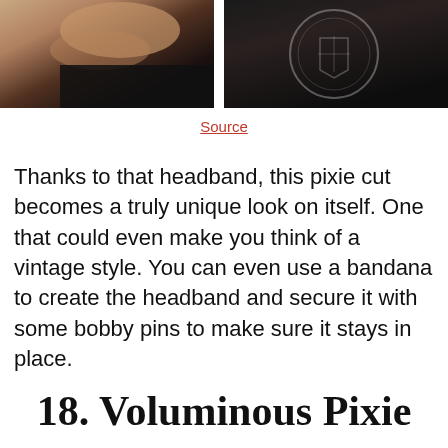[Figure (photo): Two-panel photo: left panel shows a person's arm/shoulder with a black graphic top; right panel shows a close-up of a black graphic tee with a circular emblem design]
Source
Thanks to that headband, this pixie cut becomes a truly unique look on itself. One that could even make you think of a vintage style. You can even use a bandana to create the headband and secure it with some bobby pins to make sure it stays in place.
18. Voluminous Pixie